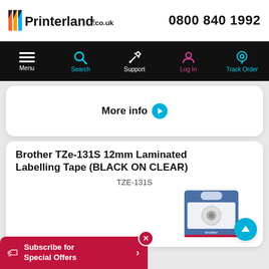Printerland.co.uk | 0800 840 1992
[Figure (screenshot): Navigation bar with icons: Menu (hamburger), Search (magnifier, cyan), Support (wrench, white), Log In (person, pink), Track Order (location pin, cyan)]
More info ▶
Brother TZe-131S 12mm Laminated Labelling Tape (BLACK ON CLEAR)
TZE-131S
[Figure (photo): Brother TZe-131S product packaging - blue card with hanging hole]
Subscribe for Special Offers